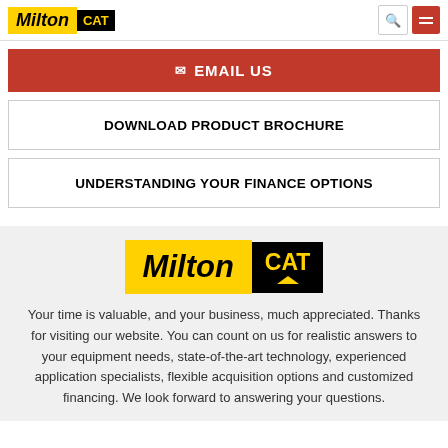[Figure (logo): Milton CAT logo in page header - Milton in bold italic on yellow background, CAT in bold on black background]
✉ EMAIL US
DOWNLOAD PRODUCT BROCHURE
UNDERSTANDING YOUR FINANCE OPTIONS
[Figure (logo): Milton CAT logo - Milton in bold italic on yellow background, CAT with triangle on black background]
Your time is valuable, and your business, much appreciated. Thanks for visiting our website. You can count on us for realistic answers to your equipment needs, state-of-the-art technology, experienced application specialists, flexible acquisition options and customized financing. We look forward to answering your questions.